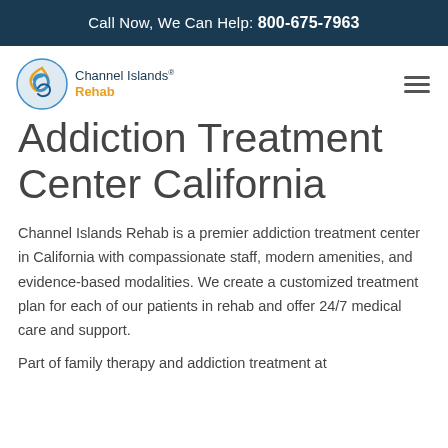Call Now, We Can Help: 800-675-7963
[Figure (logo): Channel Islands Rehab logo with circular wave icon and text 'Channel Islands Rehab']
Addiction Treatment Center California
Channel Islands Rehab is a premier addiction treatment center in California with compassionate staff, modern amenities, and evidence-based modalities. We create a customized treatment plan for each of our patients in rehab and offer 24/7 medical care and support.
Part of family therapy and addiction treatment at